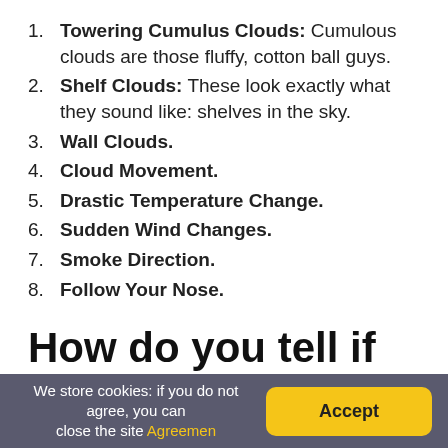1. Towering Cumulus Clouds: Cumulous clouds are those fluffy, cotton ball guys.
2. Shelf Clouds: These look exactly what they sound like: shelves in the sky.
3. Wall Clouds.
4. Cloud Movement.
5. Drastic Temperature Change.
6. Sudden Wind Changes.
7. Smoke Direction.
8. Follow Your Nose.
How do you tell if it’s gonna rain?
We store cookies: if you do not agree, you can close the site Agreemen